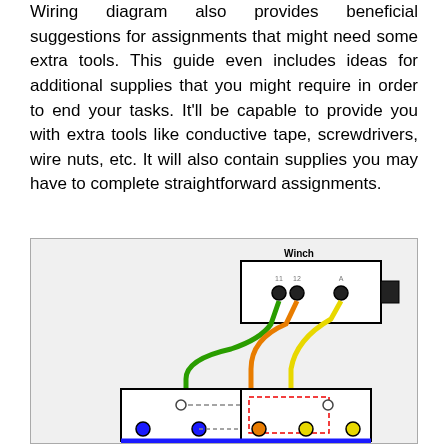Wiring diagram also provides beneficial suggestions for assignments that might need some extra tools. This guide even includes ideas for additional supplies that you might require in order to end your tasks. It'll be capable to provide you with extra tools like conductive tape, screwdrivers, wire nuts, etc. It will also contain supplies you may have to complete straightforward assignments.
[Figure (engineering-diagram): Wiring diagram showing a Winch component connected via green, orange, and yellow wires to relay/switch boxes. The winch box is at top right with terminals labeled. Two rectangular boxes at bottom left and bottom center-right are connected with dashed lines and colored wires including blue wire along bottom.]